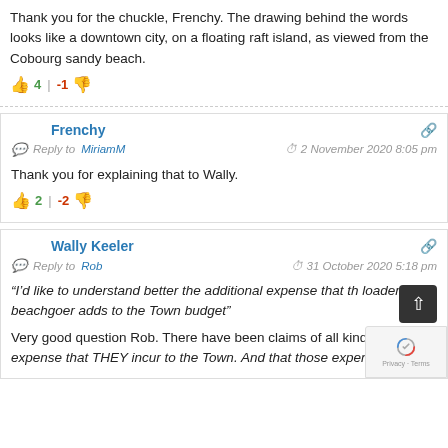Thank you for the chuckle, Frenchy. The drawing behind the words looks like a downtown city, on a floating raft island, as viewed from the Cobourg sandy beach.
4 | -1
Frenchy
Reply to MiriamM   2 November 2020 8:05 pm
Thank you for explaining that to Wally.
2 | -2
Wally Keeler
Reply to Rob   31 October 2020 5:18 pm
“I’d like to understand better the additional expense that the loader beachgoer adds to the Town budget”
Very good question Rob. There have been claims of all kinds of expense that THEY incur to the Town. And that those expenses